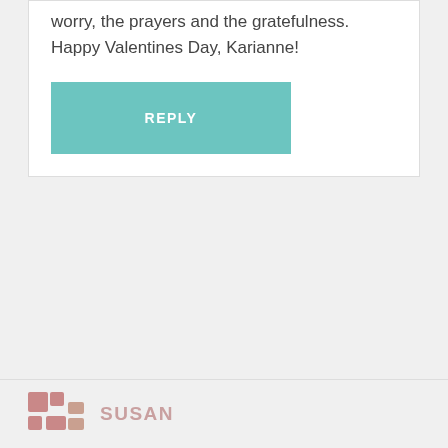worry, the prayers and the gratefulness. Happy Valentines Day, Karianne!
REPLY
DONNA MARIE
Jan 29, 2016 at 10:10 am
It's called being IN love!!!
REPLY
SUSAN